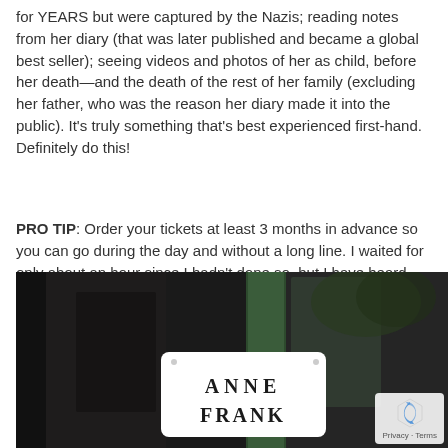for YEARS but were captured by the Nazis; reading notes from her diary (that was later published and became a global best seller); seeing videos and photos of her as child, before her death—and the death of the rest of her family (excluding her father, who was the reason her diary made it into the public). It's truly something that's best experienced first-hand. Definitely do this!
PRO TIP: Order your tickets at least 3 months in advance so you can go during the day and without a long line. I waited for only about an hour since I hadn't done so, but I have heard stories of the lines being even longer and some being turned away at the door.
[Figure (photo): Photograph of an Anne Frank sign/plaque on a dark building exterior with a green pillar, showing 'ANNE FRANK' in capital letters on a white rectangular sign with rounded corners]